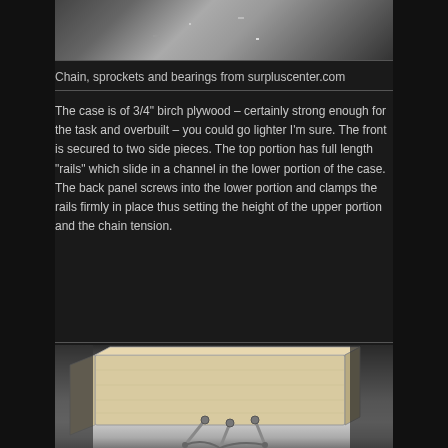[Figure (photo): Black and white close-up photo of chain, sprockets and bearings mechanical components]
Chain, sprockets and bearings from surpluscenter.com
The case is of 3/4" birch plywood – certainly strong enough for the task and overbuilt – you could go lighter I'm sure.  The front is secured to two side pieces. The top portion has full length “rails” which slide in a channel in the lower portion of the case.  The back panel screws into the lower portion and clamps the rails firmly in place thus setting the height of the upper portion and the chain tension.
[Figure (photo): Black and white photo of wooden plywood case structure with metal rods or handles visible]